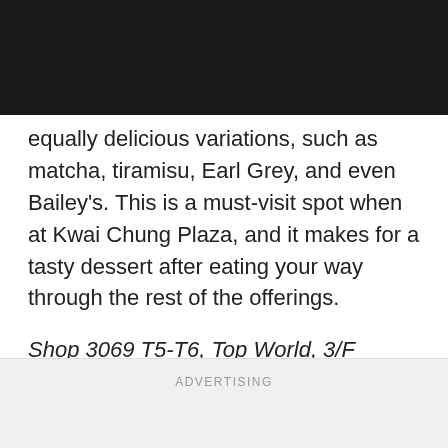equally delicious variations, such as matcha, tiramisu, Earl Grey, and even Bailey's. This is a must-visit spot when at Kwai Chung Plaza, and it makes for a tasty dessert after eating your way through the rest of the offerings.
Shop 3069 T5-T6, Top World, 3/F
ADVERTISING